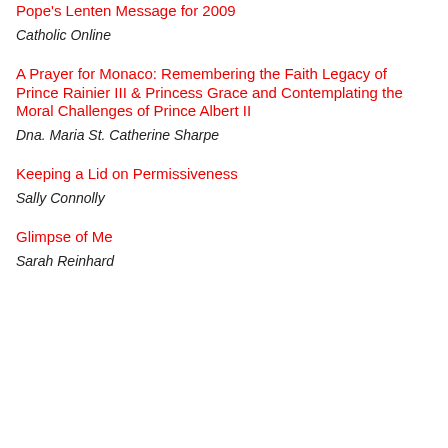Pope's Lenten Message for 2009
Catholic Online
A Prayer for Monaco: Remembering the Faith Legacy of Prince Rainier III & Princess Grace and Contemplating the Moral Challenges of Prince Albert II
Dna. Maria St. Catherine Sharpe
Keeping a Lid on Permissiveness
Sally Connolly
Glimpse of Me
Sarah Reinhard